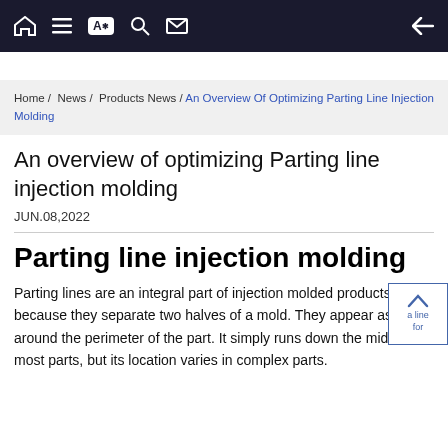Home / News / Products News / An Overview Of Optimizing Parting Line Injection Molding
An overview of optimizing Parting line injection molding
JUN.08,2022
Parting line injection molding
Parting lines are an integral part of injection molded products because they separate two halves of a mold. They appear as a line around the perimeter of the part. It simply runs down the middle for most parts, but its location varies in complex parts.